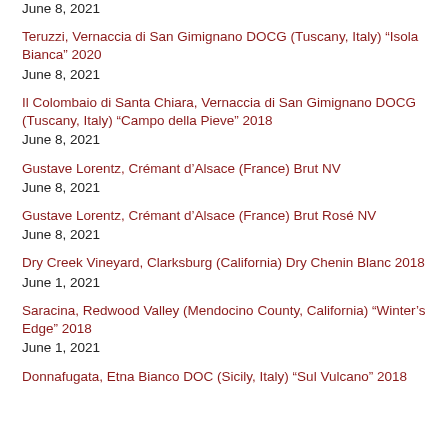June 8, 2021
Teruzzi, Vernaccia di San Gimignano DOCG (Tuscany, Italy) “Isola Bianca” 2020
June 8, 2021
Il Colombaio di Santa Chiara, Vernaccia di San Gimignano DOCG (Tuscany, Italy) “Campo della Pieve” 2018
June 8, 2021
Gustave Lorentz, Crémant d’Alsace (France) Brut NV
June 8, 2021
Gustave Lorentz, Crémant d’Alsace (France) Brut Rosé NV
June 8, 2021
Dry Creek Vineyard, Clarksburg (California) Dry Chenin Blanc 2018
June 1, 2021
Saracina, Redwood Valley (Mendocino County, California) “Winter’s Edge” 2018
June 1, 2021
Donnafugata, Etna Bianco DOC (Sicily, Italy) “Sul Vulcano” 2018